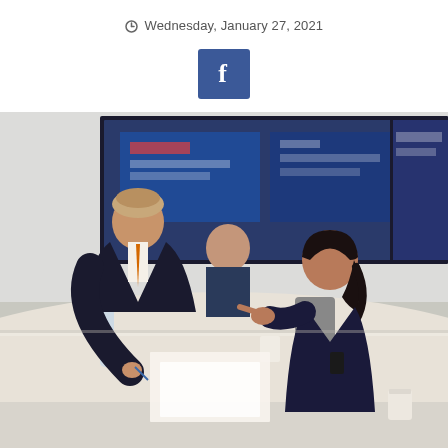Wednesday, January 27, 2021
[Figure (logo): Facebook share button — dark blue square with white letter f]
[Figure (photo): Two business professionals in a conference room leaning over a table discussing documents; a third person visible in background; large display screens on wall behind them]